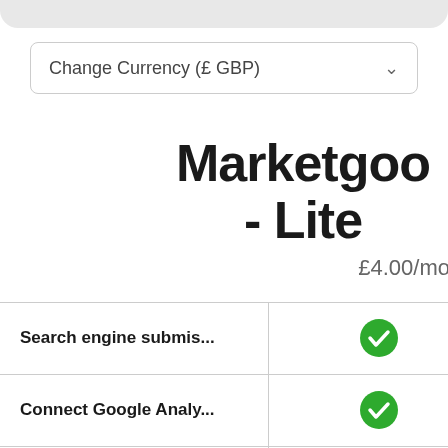Change Currency (£ GBP)
Marketgoo - Lite
£4.00/mo
Search engine submis...
Connect Google Analy...
Download SEO report...